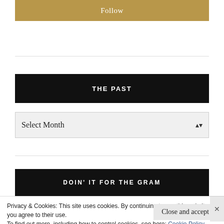Follow
THE PAST
Select Month
DOIN' IT FOR THE GRAM
Privacy & Cookies: This site uses cookies. By continuing to use this website, you agree to their use.
To find out more, including how to control cookies, see here: Cookie Policy
Close and accept